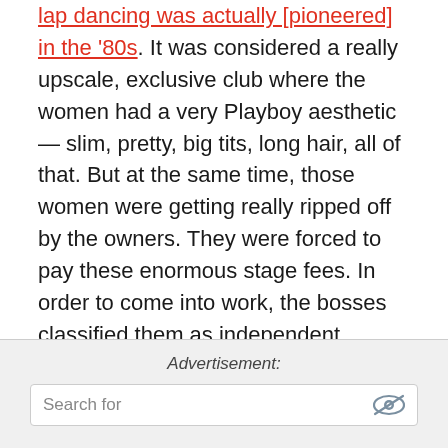O'Farrell theater is where lap dancing was actually [pioneered] in the '80s. It was considered a really upscale, exclusive club where the women had a very Playboy aesthetic — slim, pretty, big tits, long hair, all of that. But at the same time, those women were getting really ripped off by the owners. They were forced to pay these enormous stage fees. In order to come into work, the bosses classified them as independent contractors rather than employees. That meant they didn't need to pay them even minimum wage, but more importantly, they could actually charge the dancers a fee to come into work.
Advertisement:
Search for